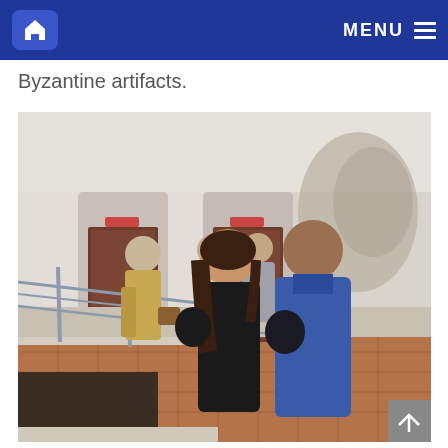MENU
Byzantine artifacts.
[Figure (photo): Two people smiling and posing on a ramp with metal railings inside what appears to be a museum or historic building interior. The man on the right wears a blue jacket and black gloves, waving at the camera. The woman on the left wears a black coat. In the background are several other visitors near elevator doors, and weathered white walls.]